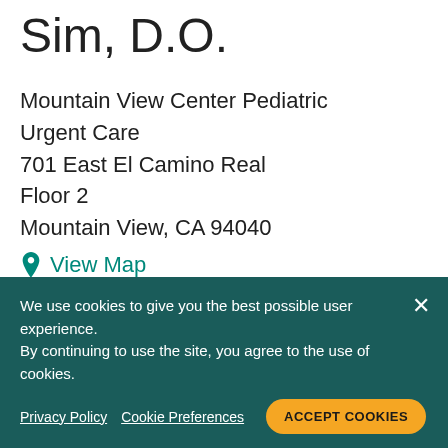Sim, D.O.
Mountain View Center Pediatric Urgent Care
701 East El Camino Real
Floor 2
Mountain View, CA 94040
View Map
(650) 934-7800
3 Additional Locations
Offers MyHealth Online
We use cookies to give you the best possible user experience. By continuing to use the site, you agree to the use of cookies.
Privacy Policy   Cookie Preferences   ACCEPT COOKIES